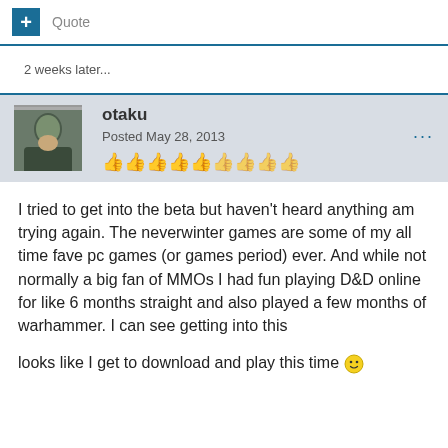Quote
2 weeks later...
otaku
Posted May 28, 2013
I tried to get into the beta but haven't heard anything am trying again. The neverwinter games are some of my all time fave pc games (or games period) ever. And while not normally a big fan of MMOs I had fun playing D&D online for like 6 months straight and also played a few months of warhammer. I can see getting into this

looks like I get to download and play this time :)